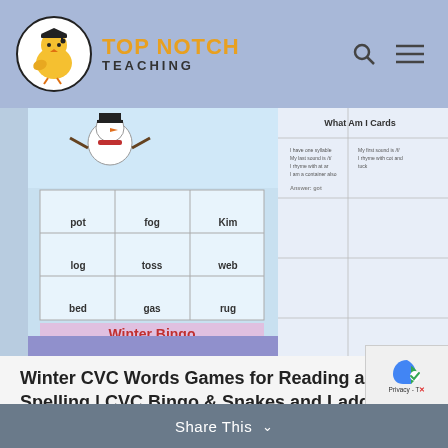[Figure (logo): Top Notch Teaching logo: yellow chick with graduation cap inside a circle, with 'TOP NOTCH TEACHING' text in orange and dark grey]
[Figure (photo): Screenshot of educational materials: Winter Bingo CVC word game card (with snowman and words like pot, fog, Kim, log, toss, web, bed, gas, rug) alongside a 'What Am I Cards' worksheet]
Winter CVC Words Games for Reading and Spelling | CVC Bingo & Snakes and Ladders
READ MORE
Share This